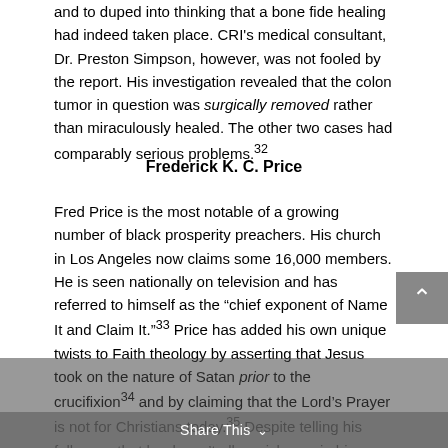and to duped into thinking that a bone fide healing had indeed taken place. CRI's medical consultant, Dr. Preston Simpson, however, was not fooled by the report. His investigation revealed that the colon tumor in question was surgically removed rather than miraculously healed. The other two cases had comparably serious problems.32
Frederick K. C. Price
Fred Price is the most notable of a growing number of black prosperity preachers. His church in Los Angeles now claims some 16,000 members. He is seen nationally on television and has referred to himself as the “chief exponent of Name It and Claim It.”33 Price has added his own unique twists to Faith theology by asserting that Jesus took on the nature of Satan prior to the crucifixion34 and by claiming that the Lord’s Prayer is not for Christians today.35 Despite telling his followers that he doesn’t allow sickness in his home, Price’s wife has been treated for cancer in her pelvic area.36 Referring to his wealth, Price says the reason he drives a Rolls Royce is that he is following in